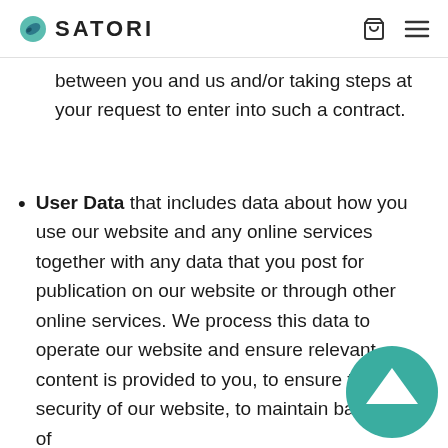SATORI
between you and us and/or taking steps at your request to enter into such a contract.
User Data that includes data about how you use our website and any online services together with any data that you post for publication on our website or through other online services. We process this data to operate our website and ensure relevant content is provided to you, to ensure the security of our website, to maintain back- ups of